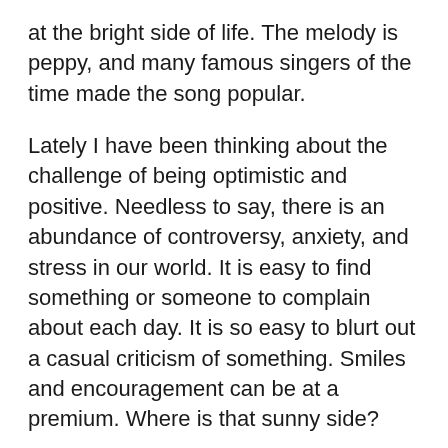at the bright side of life. The melody is peppy, and many famous singers of the time made the song popular.
Lately I have been thinking about the challenge of being optimistic and positive. Needless to say, there is an abundance of controversy, anxiety, and stress in our world. It is easy to find something or someone to complain about each day. It is so easy to blurt out a casual criticism of something. Smiles and encouragement can be at a premium. Where is that sunny side?
How difficult would it be to intentionally avoid negative comments and thoughts for just one full day? Such an effort could certainly affect not only us but also the people with whom we